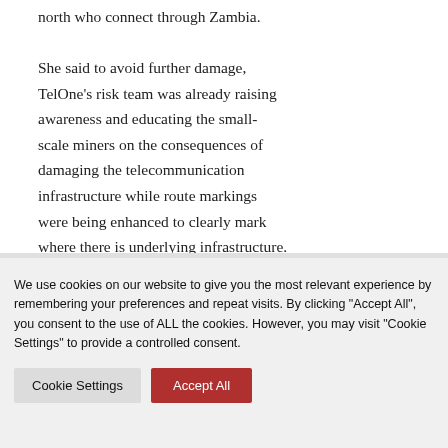north who connect through Zambia. She said to avoid further damage, TelOne's risk team was already raising awareness and educating the small-scale miners on the consequences of damaging the telecommunication infrastructure while route markings were being enhanced to clearly mark where there is underlying infrastructure.
We use cookies on our website to give you the most relevant experience by remembering your preferences and repeat visits. By clicking "Accept All", you consent to the use of ALL the cookies. However, you may visit "Cookie Settings" to provide a controlled consent.